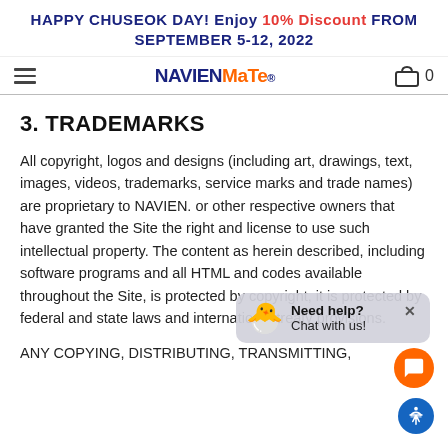HAPPY CHUSEOK DAY! Enjoy 10% Discount FROM SEPTEMBER 5-12, 2022
[Figure (logo): NavienMate logo with hamburger menu and cart icon in navigation bar]
3. TRADEMARKS
All copyright, logos and designs (including art, drawings, text, images, videos, trademarks, service marks and trade names) are proprietary to NAVIEN. or other respective owners that have granted the Site the right and license to use such intellectual property. The content as herein described, including software programs and all HTML and codes available throughout the Site, is protected by copyright, it is protected by federal and state laws and international treaty provisions.
ANY COPYING, DISTRIBUTING, TRANSMITTING,